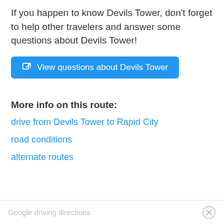If you happen to know Devils Tower, don't forget to help other travelers and answer some questions about Devils Tower!
[Figure (other): Blue button with external link icon labeled 'View questions about Devils Tower']
More info on this route:
drive from Devils Tower to Rapid City
road conditions
alternate routes
Google driving directions